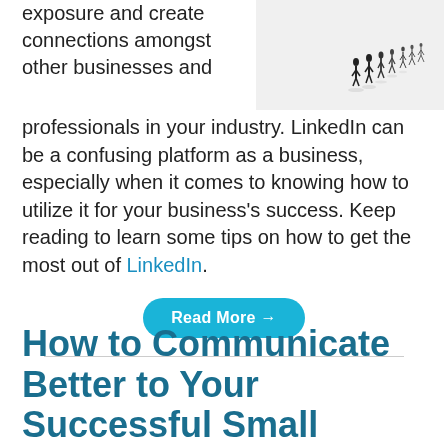exposure and create connections amongst other businesses and professionals in your industry. LinkedIn can be a confusing platform as a business, especially when it comes to knowing how to utilize it for your business's success. Keep reading to learn some tips on how to get the most out of LinkedIn.
[Figure (photo): Black and white photo of silhouetted people walking on a white surface, casting shadows]
Read More →
How to Communicate Better to Your Successful Small Business Customers